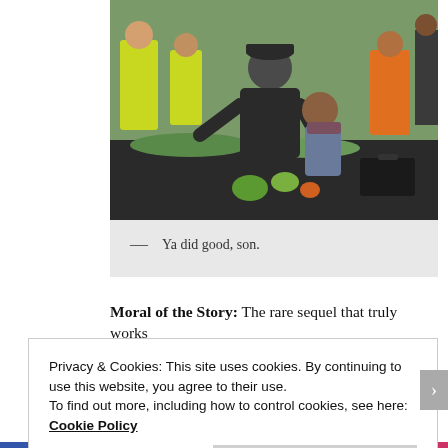[Figure (photo): Outdoor scene showing a man in dark clothing and cap crouching down to help a seated person on dark ground, surrounded by several people wearing high-visibility yellow and orange vests, with green grass and vegetables visible on the ground.]
— Ya did good, son.
Moral of the Story: The rare sequel that truly works
Privacy & Cookies: This site uses cookies. By continuing to use this website, you agree to their use.
To find out more, including how to control cookies, see here: Cookie Policy
Close and accept